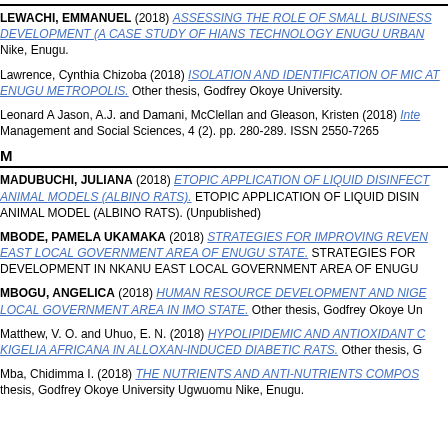LEWACHI, EMMANUEL (2018) ASSESSING THE ROLE OF SMALL BUSINESS DEVELOPMENT (A CASE STUDY OF HIANS TECHNOLOGY ENUGU URBAN). Nike, Enugu.
Lawrence, Cynthia Chizoba (2018) ISOLATION AND IDENTIFICATION OF MIC AT ENUGU METROPOLIS. Other thesis, Godfrey Okoye University.
Leonard A Jason, A.J. and Damani, McClellan and Gleason, Kristen (2018) Inte Management and Social Sciences, 4 (2). pp. 280-289. ISSN 2550-7265
M
MADUBUCHI, JULIANA (2018) ETOPIC APPLICATION OF LIQUID DISINFECT ANIMAL MODELS (ALBINO RATS). ETOPIC APPLICATION OF LIQUID DISIN ANIMAL MODEL (ALBINO RATS). (Unpublished)
MBODE, PAMELA UKAMAKA (2018) STRATEGIES FOR IMPROVING REVEN EAST LOCAL GOVERNMENT AREA OF ENUGU STATE. STRATEGIES FOR DEVELOPMENT IN NKANU EAST LOCAL GOVERNMENT AREA OF ENUGU
MBOGU, ANGELICA (2018) HUMAN RESOURCE DEVELOPMENT AND NIGE LOCAL GOVERNMENT AREA IN IMO STATE. Other thesis, Godfrey Okoye Un
Matthew, V. O. and Uhuo, E. N. (2018) HYPOLIPIDEMIC AND ANTIOXIDANT C KIGELIA AFRICANA IN ALLOXAN-INDUCED DIABETIC RATS. Other thesis, G
Mba, Chidimma I. (2018) THE NUTRIENTS AND ANTI-NUTRIENTS COMPOS thesis, Godfrey Okoye University Ugwuomu Nike, Enugu.